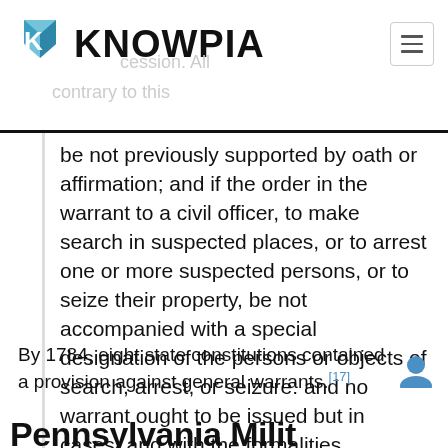KNOWPIA
be not previously supported by oath or affirmation; and if the order in the warrant to a civil officer, to make search in suspected places, or to arrest one or more suspected persons, or to seize their property, be not accompanied with a special designation of the persons or objects of search, arrest, or seizure: and no warrant ought to be issued but in cases, and with the formalities, prescribed by the laws.[16]
By 1784, eight state constitutions contained a provision against general warrants.[17]
Pennsylvania Milit...